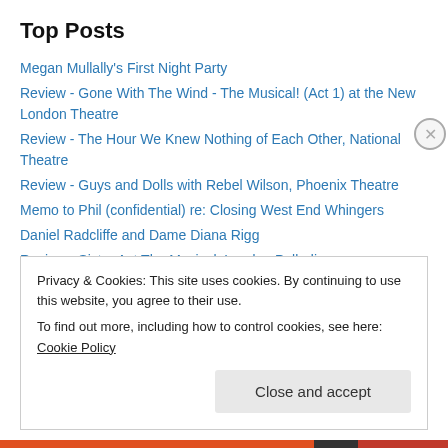Top Posts
Megan Mullally's First Night Party
Review - Gone With The Wind - The Musical! (Act 1) at the New London Theatre
Review - The Hour We Knew Nothing of Each Other, National Theatre
Review - Guys and Dolls with Rebel Wilson, Phoenix Theatre
Memo to Phil (confidential) re: Closing West End Whingers
Daniel Radcliffe and Dame Diana Rigg
Review - Sister Act The Musical, London Palladium
Review - Vernon God Little, Young Vic, London
Review - Hello, Dolly! at Regent's Park Open Air Theatre
Review - Pinter's People
Privacy & Cookies: This site uses cookies. By continuing to use this website, you agree to their use. To find out more, including how to control cookies, see here: Cookie Policy
Close and accept